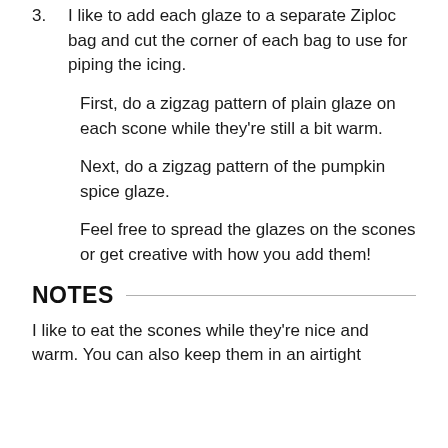3. I like to add each glaze to a separate Ziploc bag and cut the corner of each bag to use for piping the icing.
First, do a zigzag pattern of plain glaze on each scone while they're still a bit warm.
Next, do a zigzag pattern of the pumpkin spice glaze.
Feel free to spread the glazes on the scones or get creative with how you add them!
NOTES
I like to eat the scones while they're nice and warm. You can also keep them in an airtight